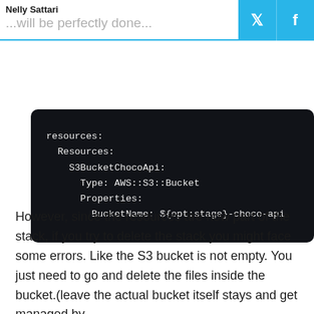Nelly Sattari / ...will be perfectly done...
[Figure (screenshot): Code block with dark background showing YAML/CloudFormation resources definition including S3BucketChocoApi with Type AWS::S3::Bucket and BucketName property set to ${opt:stage}-choco-api]
However, since the resources are now part of the stack, if you try to delete the stack you might face some errors. Like the S3 bucket is not empty. You just need to go and delete the files inside the bucket.(leave the actual bucket itself stays and get managed by